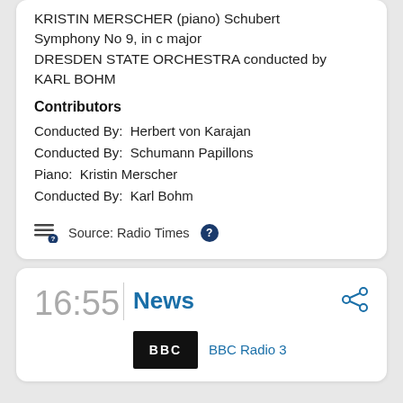KRISTIN MERSCHER (piano) Schubert Symphony No 9, in c major DRESDEN STATE ORCHESTRA conducted by KARL BOHM
Contributors
Conducted By:  Herbert von Karajan
Conducted By:  Schumann Papillons
Piano:  Kristin Merscher
Conducted By:  Karl Bohm
Source: Radio Times ?
16:55
News
[Figure (logo): BBC logo on black background]
BBC Radio 3